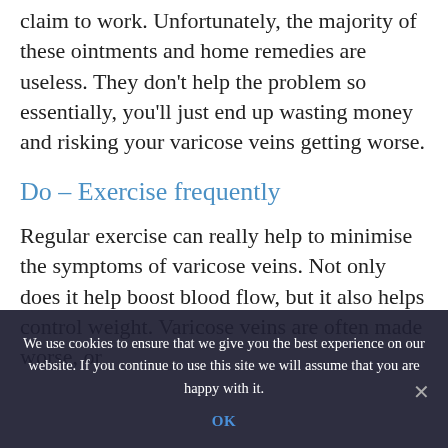claim to work. Unfortunately, the majority of these ointments and home remedies are useless. They don't help the problem so essentially, you'll just end up wasting money and risking your varicose veins getting worse.
Do – Exercise frequently
Regular exercise can really help to minimise the symptoms of varicose veins. Not only does it help boost blood flow, but it also helps control weight. Varicose veins are often made worse, or
We use cookies to ensure that we give you the best experience on our website. If you continue to use this site we will assume that you are happy with it.
OK